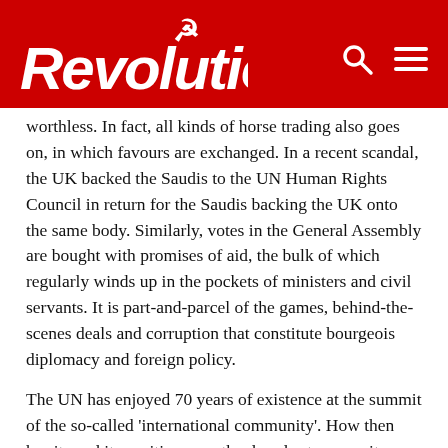Revolution
worthless. In fact, all kinds of horse trading also goes on, in which favours are exchanged. In a recent scandal, the UK backed the Saudis to the UN Human Rights Council in return for the Saudis backing the UK onto the same body. Similarly, votes in the General Assembly are bought with promises of aid, the bulk of which regularly winds up in the pockets of ministers and civil servants. It is part-and-parcel of the games, behind-the-scenes deals and corruption that constitute bourgeois diplomacy and foreign policy.
The UN has enjoyed 70 years of existence at the summit of the so-called ‘international community’. How then has it used its position over the decades to prove its peace credentials?
Most frequently the UN is discussed in terms of resolutions at the Security Council regarding things like sanctions. However, in various conflicts and disasters it has its own